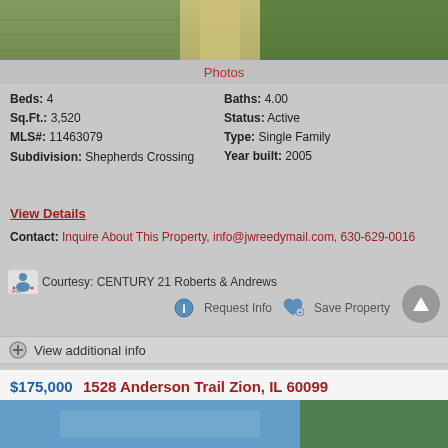[Figure (photo): Aerial or road photo showing a path/road with greenery on both sides]
Photos
Beds: 4   Baths: 4.00
Sq.Ft.: 3,520   Status: Active
MLS#: 11463079   Type: Single Family
Subdivision: Shepherds Crossing   Year built: 2005
View Details
Contact: Inquire About This Property, info@jwreedymail.com, 630-629-0016
Courtesy: CENTURY 21 Roberts & Andrews
Request Info   Save Property
View additional info
$175,000  1528 Anderson Trail Zion, IL 60099